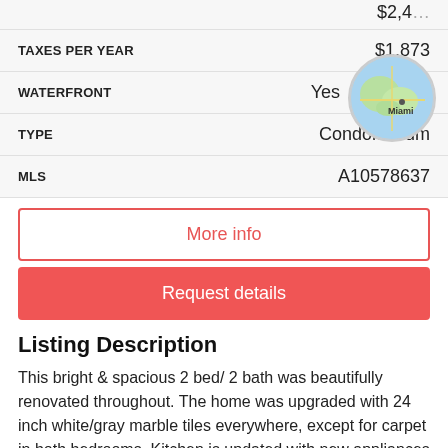| Field | Value |
| --- | --- |
| TAXES PER YEAR | $1,873 |
| WATERFRONT | Yes |
| TYPE | Condominium |
| MLS | A10578637 |
[Figure (map): Circular map thumbnail showing Miami area location]
More info
Request details
Listing Description
This bright & spacious 2 bed/ 2 bath was beautifully renovated throughout. The home was upgraded with 24 inch white/gray marble tiles everywhere, except for carpet in both bedrooms. Kitchen is updated with new appliances